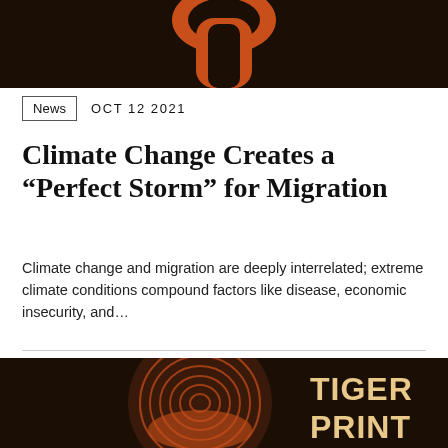[Figure (illustration): Dark background with orange/rust graphic element at top of page, partially cropped, showing what appears to be an orange shape on a very dark brown/black background.]
News  OCT 12 2021
Climate Change Creates a “Perfect Storm” for Migration
Climate change and migration are deeply interrelated; extreme climate conditions compound factors like disease, economic insecurity, and…
[Figure (illustration): Dark background image with orange fingerprint/swirl graphic and large bold text reading 'TIGER PRINT' partially visible on the right side.]